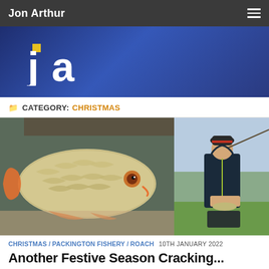Jon Arthur
[Figure (logo): Jon Arthur logo — stylized 'ja' letters in white on a dark blue gradient background]
CATEGORY: CHRISTMAS
[Figure (photo): Two fishing photos side by side: left shows a close-up of a roach fish being held, right shows a person in winter fishing gear holding a fish and a net by a lake]
CHRISTMAS / PACKINGTON FISHERY / ROACH 10TH JANUARY 2022
Another Festive Season Cracking...